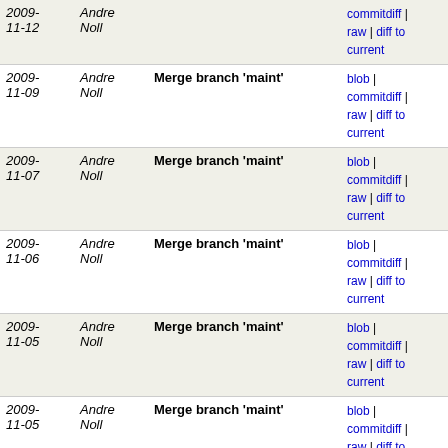| Date | Author | Message | Links |
| --- | --- | --- | --- |
| 2009-11-12 | Andre Noll |  | commitdiff | raw | diff to current |
| 2009-11-09 | Andre Noll | Merge branch 'maint' | blob | commitdiff | raw | diff to current |
| 2009-11-07 | Andre Noll | Merge branch 'maint' | blob | commitdiff | raw | diff to current |
| 2009-11-06 | Andre Noll | Merge branch 'maint' | blob | commitdiff | raw | diff to current |
| 2009-11-05 | Andre Noll | Merge branch 'maint' | blob | commitdiff | raw | diff to current |
| 2009-11-05 | Andre Noll | Merge branch 'maint' | blob | commitdiff | raw | diff to current |
| 2009-10-24 | Andre Noll | Merge branch 'maint' | blob | commitdiff | raw | diff to current |
| 2009-10-22 | Andre Noll | Merge branch 'maint' into next | blob | commitdiff | raw | diff to current |
| 2009-10-22 | Andre Noll | Merge branch 'maint' | blob | commitdiff | raw | diff to current |
| 2009-10-22 | Andre Noll | Merge branch 'maint' | blob | commitdiff | raw | diff to current |
| 2009-10-16 | Andre Noll | Merge branch 'maint' | blob | commitdiff |